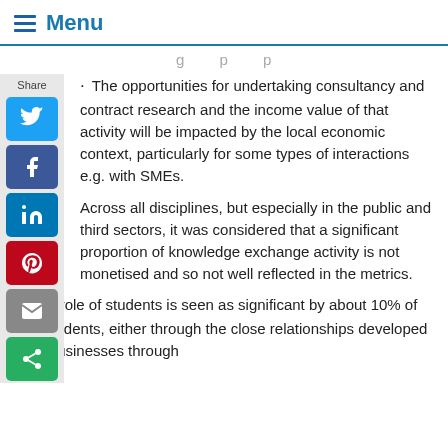Menu
g p p
The opportunities for undertaking consultancy and contract research and the income value of that activity will be impacted by the local economic context, particularly for some types of interactions e.g. with SMEs.
Across all disciplines, but especially in the public and third sectors, it was considered that a significant proportion of knowledge exchange activity is not monetised and so not well reflected in the metrics.
The role of students is seen as significant by about 10% of respondents, either through the close relationships developed with businesses through